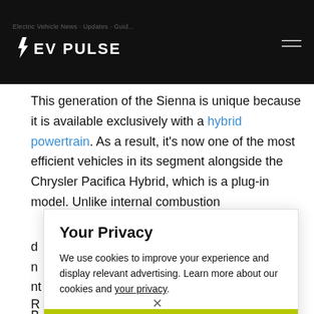EV PULSE
This generation of the Sienna is unique because it is available exclusively with a hybrid powertrain. As a result, it's now one of the most efficient vehicles in its segment alongside the Chrysler Pacifica Hybrid, which is a plug-in model. Unlike internal combustion d... r... n... t...
Your Privacy
We use cookies to improve your experience and display relevant advertising. Learn more about our cookies and your privacy.
Accept